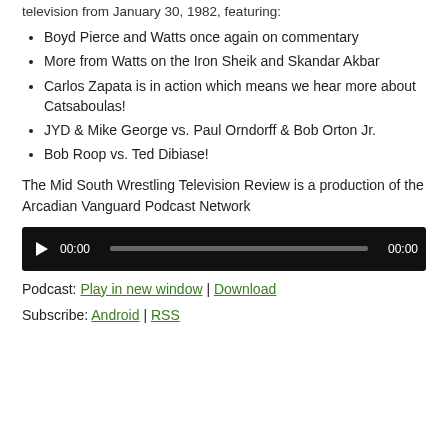television from January 30, 1982, featuring:
Boyd Pierce and Watts once again on commentary
More from Watts on the Iron Sheik and Skandar Akbar
Carlos Zapata is in action which means we hear more about Catsaboulas!
JYD & Mike George vs. Paul Orndorff & Bob Orton Jr.
Bob Roop vs. Ted Dibiase!
The Mid South Wrestling Television Review is a production of the Arcadian Vanguard Podcast Network
[Figure (other): Audio player widget with play button, time display 00:00, progress bar, and end time 00:00]
Podcast: Play in new window | Download
Subscribe: Android | RSS